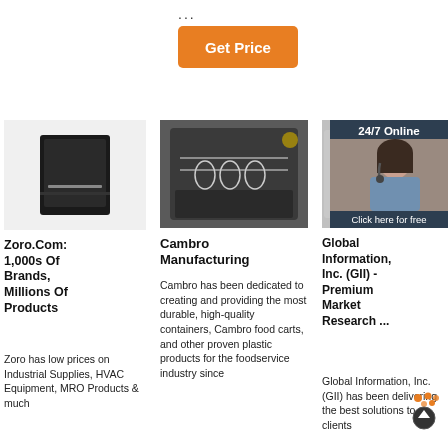...
[Figure (other): Orange 'Get Price' button]
[Figure (photo): Black dishwasher appliance on white background]
Zoro.Com: 1,000s Of Brands, Millions Of Products
Zoro has low prices on Industrial Supplies, HVAC Equipment, MRO Products & much
[Figure (photo): Open dishwasher loaded with glassware in kitchen]
Cambro Manufacturing
Cambro has been dedicated to creating and providing the most durable, high-quality containers, Cambro food carts, and other proven plastic products for the foodservice industry since
[Figure (photo): Partial view of appliance and 24/7 Online support agent overlay with woman wearing headset; Click here for free chat! and QUOTATION button]
Global Information, Inc. (GII) - Premium Market Research ...
Global Information, Inc. (GII) has been delivering the best solutions to clients